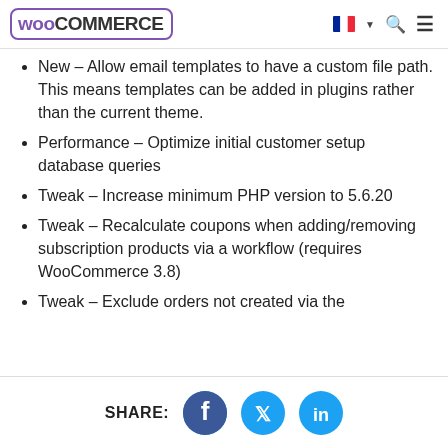WooCommerce
New – Allow email templates to have a custom file path. This means templates can be added in plugins rather than the current theme.
Performance – Optimize initial customer setup database queries
Tweak – Increase minimum PHP version to 5.6.20
Tweak – Recalculate coupons when adding/removing subscription products via a workflow (requires WooCommerce 3.8)
Tweak – Exclude orders not created via the
SHARE: [Facebook] [Twitter] [LinkedIn]